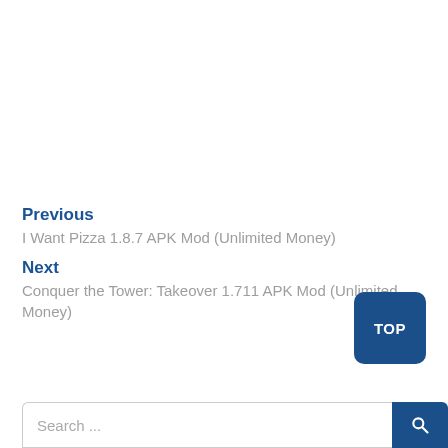Previous
I Want Pizza 1.8.7 APK Mod (Unlimited Money)
Next
Conquer the Tower: Takeover 1.711 APK Mod (Unlimited Money)
TOP
Search ...